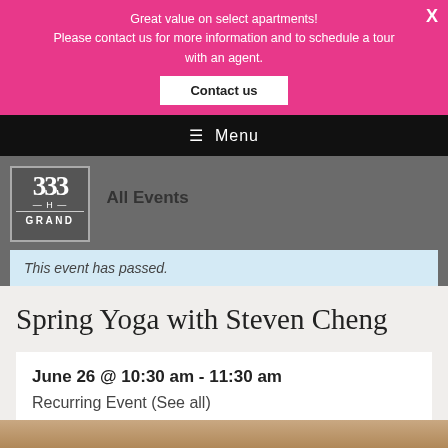Great value on select apartments! Please contact us for more information and to schedule a tour with an agent.
Contact us
≡ Menu
All Events
This event has passed.
Spring Yoga with Steven Cheng
June 26 @ 10:30 am - 11:30 am
Recurring Event (See all)